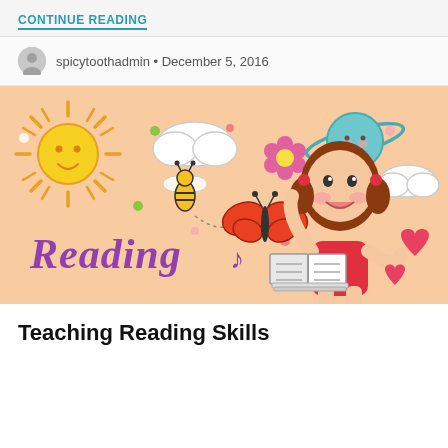CONTINUE READING
spicytoothadmin • December 5, 2016
[Figure (illustration): Colorful children's illustration on a peach/salmon background featuring a cartoon girl reading a book, a sun, clouds, a bee, a butterfly, a flower, a planet, hearts, and the word 'Reading' in purple decorative font with a music note.]
Teaching Reading Skills